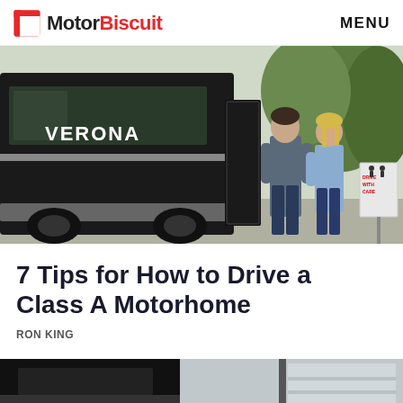MotorBiscuit | MENU
[Figure (photo): Two people (a man and a woman) standing outside a large Class A motorhome labeled 'VERONA', with a 'Drive with Care' sign visible in the background and green trees]
7 Tips for How to Drive a Class A Motorhome
RON KING
[Figure (photo): Partial bottom strip showing another motorhome or RV, cropped view from below]